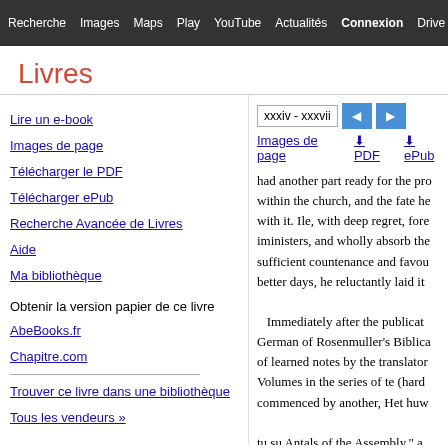Recherche  Images  Maps  Play  YouTube  Actualités  Connexion  Drive  (settings)
Livres
xxxiv - xxxvii
Images de page
PDF
ePub
Lire un e-book
Images de page
Télécharger le PDF
Télécharger ePub
Recherche Avancée de Livres
Aide
Ma bibliothèque
Obtenir la version papier de ce livre
AbeBooks.fr
Chapitre.com
Trouver ce livre dans une bibliothèque
Tous les vendeurs »
had another part ready for the pre... within the church, and the fate he... with it. Ile, with deep regret, fore... iministers, and wholly absorb the... sufficient countenance and favou... better days, he reluctantly laid it

Immediately after the publicat... German of Rosenmuller's Biblica... of learned notes by the translator... Volumes in the series of te (hard... commenced by another, Het huw...

tu su Antals of the Assembly," a... record of the Transactions of the... Decisions. It is careally compli...